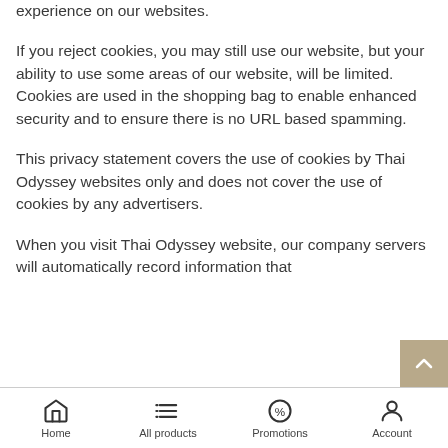experience on our websites.
If you reject cookies, you may still use our website, but your ability to use some areas of our website, will be limited. Cookies are used in the shopping bag to enable enhanced security and to ensure there is no URL based spamming.
This privacy statement covers the use of cookies by Thai Odyssey websites only and does not cover the use of cookies by any advertisers.
When you visit Thai Odyssey website, our company servers will automatically record information that
Home   All products   Promotions   Account